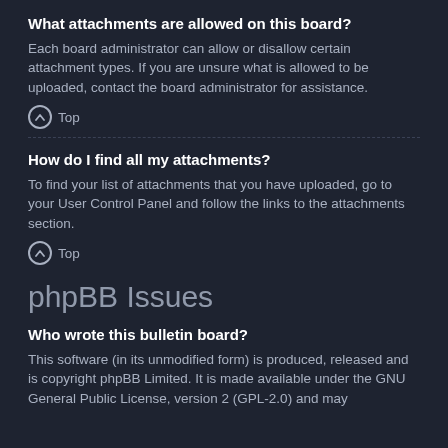What attachments are allowed on this board?
Each board administrator can allow or disallow certain attachment types. If you are unsure what is allowed to be uploaded, contact the board administrator for assistance.
⌃ Top
How do I find all my attachments?
To find your list of attachments that you have uploaded, go to your User Control Panel and follow the links to the attachments section.
⌃ Top
phpBB Issues
Who wrote this bulletin board?
This software (in its unmodified form) is produced, released and is copyright phpBB Limited. It is made available under the GNU General Public License, version 2 (GPL-2.0) and may be freely distributed. See About phpBB for more details.